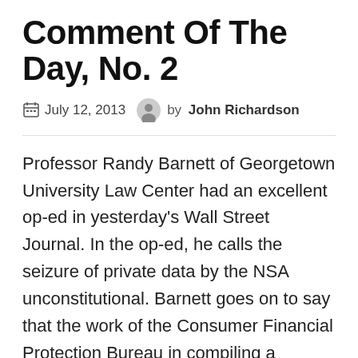Comment Of The Day, No. 2
July 12, 2013  by John Richardson
Professor Randy Barnett of Georgetown University Law Center had an excellent op-ed in yesterday’s Wall Street Journal. In the op-ed, he calls the seizure of private data by the NSA unconstitutional. Barnett goes on to say that the work of the Consumer Financial Protection Bureau in compiling a database of our private financial transactions including credit card payments, mortgage transactions, etc. should also be considered a violation of our Fourth Amendment rights to be “secure in their persons, houses